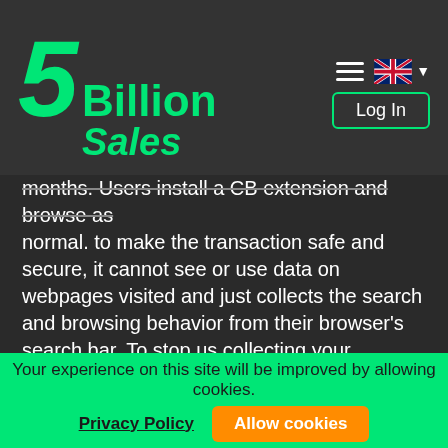[Figure (logo): 5Billion Sales logo with green italic text on dark background, with hamburger menu, UK flag dropdown, and Log In button]
months. Users install a CB extension and browse as normal. to make the transaction safe and secure, it cannot see or use data on webpages visited and just collects the search and browsing behavior from their browser's search bar. To stop us collecting your browsing data, just disable the extension, open a private window or change browser. To delete your account and data – click here
All browsing data collected is kept anonymous, never seen by the human eye without permission
Your experience on this site will be improved by allowing cookies.
Privacy Policy
Allow cookies